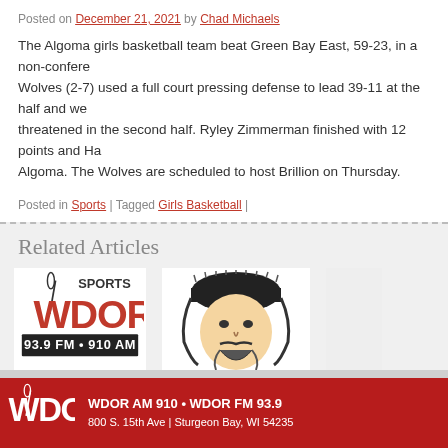Posted on December 21, 2021 by Chad Michaels
The Algoma girls basketball team beat Green Bay East, 59-23, in a non-conference game. The Wolves (2-7) used a full court pressing defense to lead 39-11 at the half and were never threatened in the second half. Ryley Zimmerman finished with 12 points and Ha... Algoma. The Wolves are scheduled to host Brillion on Thursday.
Posted in Sports | Tagged Girls Basketball |
Related Articles
[Figure (logo): WDOR Sports radio logo - 93.9 FM 910 AM]
Baxter is POY
[Figure (illustration): Knight/Pioneer mascot face illustration with fur hat]
Knights Rally Past Pioneers
Pionee...
← Older posts
WDOR AM 910 • WDOR FM 93.9  800 S. 15th Ave | Sturgeon Bay, WI 54235